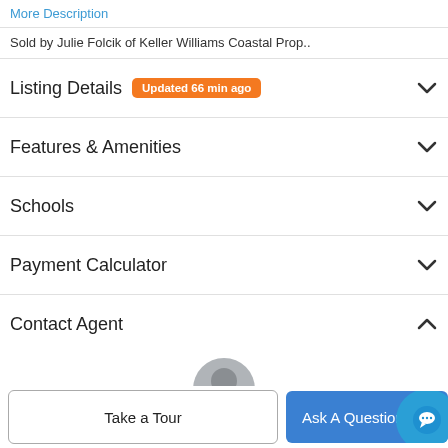More Description
Sold by Julie Folcik of Keller Williams Coastal Prop..
Listing Details  Updated 66 min ago
Features & Amenities
Schools
Payment Calculator
Contact Agent
[Figure (photo): Agent profile photo, circular crop, showing a man]
Take a Tour
Ask A Question